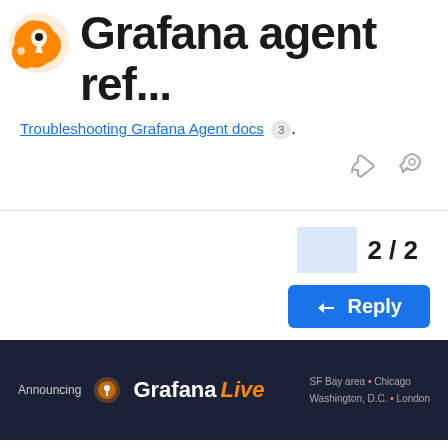Grafana agent ref...
Troubleshooting Grafana Agent docs 3 .
2 / 2
Reply
[Figure (infographic): GrafanaLive banner: Announcing GrafanaLive, SF Bay area, Chicago, Washington D.C., London]
Suggested Topics
How to use labels and annotations in description of alerting rule